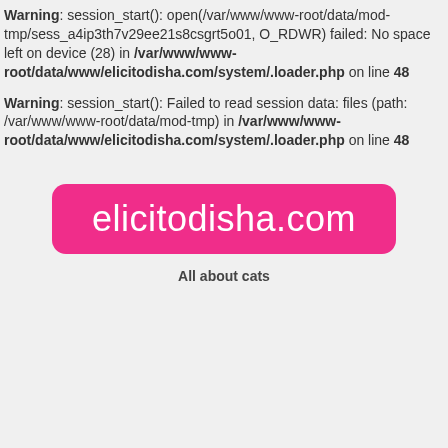Warning: session_start(): open(/var/www/www-root/data/mod-tmp/sess_a4ip3th7v29ee21s8csgrt5o01, O_RDWR) failed: No space left on device (28) in /var/www/www-root/data/www/elicitodisha.com/system/.loader.php on line 48
Warning: session_start(): Failed to read session data: files (path: /var/www/www-root/data/mod-tmp) in /var/www/www-root/data/www/elicitodisha.com/system/.loader.php on line 48
[Figure (logo): Pink rounded rectangle logo with white text reading 'elicitodisha.com']
All about cats